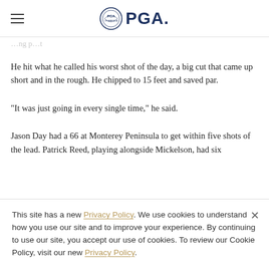PGA
He hit what he called his worst shot of the day, a big cut that came up short and in the rough. He chipped to 15 feet and saved par.
"It was just going in every single time," he said.
Jason Day had a 66 at Monterey Peninsula to get within five shots of the lead. Patrick Reed, playing alongside Mickelson, had six
This site has a new Privacy Policy. We use cookies to understand how you use our site and to improve your experience. By continuing to use our site, you accept our use of cookies. To review our Cookie Policy, visit our new Privacy Policy.